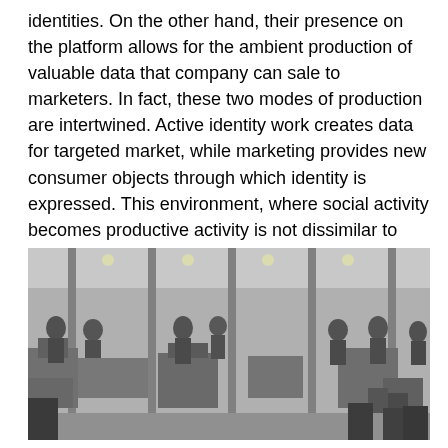identities. On the other hand, their presence on the platform allows for the ambient production of valuable data that company can sale to marketers. In fact, these two modes of production are intertwined. Active identity work creates data for targeted market, while marketing provides new consumer objects through which identity is expressed. This environment, where social activity becomes productive activity is not dissimilar to what Mario Tronti (1966) and Antonio Negri (1989) respectively described as a “factory without walls” or a “social factory.”
[Figure (photo): Black and white historical photograph of a factory floor filled with workers, primarily women, operating machinery in a large industrial hall with tall columns and overhead lighting.]